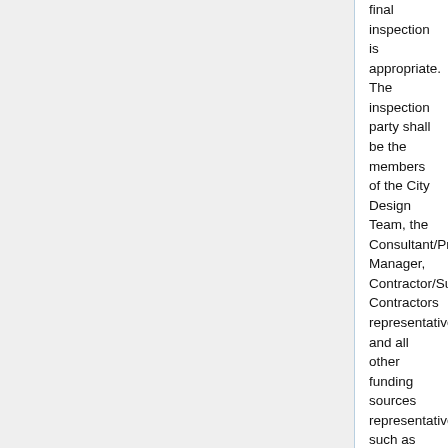final inspection is appropriate. The inspection party shall be the members of the City Design Team, the Consultant/Project Manager, Contractor/Sub-Contractors representatives and all other funding sources representative such as KDOT, CARS and SMAC.
As a result of this inspection, a “Punch List” will be prepared by the Consultant/Project Manager and forwarded to the Contractor. All items on the "Punch List" are to be addressed by the Contractor before final payment is approved.
If the project is complete except for sod/seeding due to season restrictions, the Contractor will be advised of the next time period when this work will be